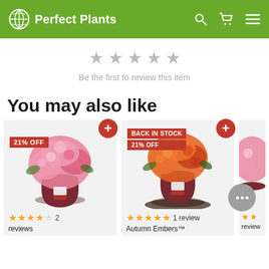Perfect Plants
Be the first to review this item
You may also like
[Figure (photo): Pink flowering azalea plant in a dark red pot with 21% OFF badge and add button. 4 gold stars, 1 outline star, 2 reviews.]
[Figure (photo): Orange/red flowering Autumn Embers azalea plant with soil spill, BACK IN STOCK and 21% OFF badges. 5 gold stars, 1 review.]
[Figure (photo): Partial view of a third flowering plant (pink), partially cropped at right edge. Reviews text visible.]